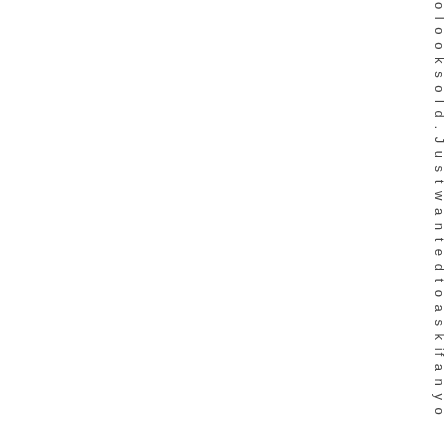o l o o k s o l d . J u s t w a n t e d t o a s k if a n y o